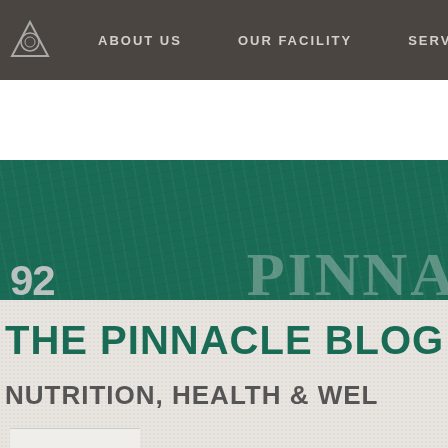ABOUT US | OUR FACILITY | SERVICE
[Figure (screenshot): Website header with dark brown navigation bar containing logo triangle icon and nav links: ABOUT US, OUR FACILITY, SERVICE]
[Figure (screenshot): Green hero banner with partial number '92', text 'Utah', and large faded text 'PINNA' and 'PERFORM' on the right side over textured dark green background]
THE PINNACLE BLOG
NUTRITION, HEALTH & WEL